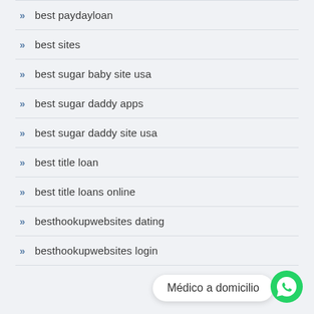best paydayloan
best sites
best sugar baby site usa
best sugar daddy apps
best sugar daddy site usa
best title loan
best title loans online
besthookupwebsites dating
besthookupwebsites login
Médico a domicilio